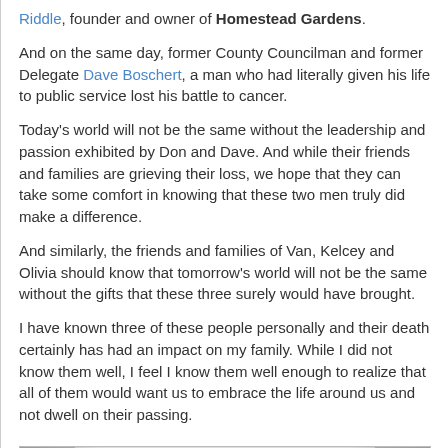Riddle, founder and owner of Homestead Gardens.
And on the same day, former County Councilman and former Delegate Dave Boschert, a man who had literally given his life to public service lost his battle to cancer.
Today's world will not be the same without the leadership and passion exhibited by Don and Dave. And while their friends and families are grieving their loss, we hope that they can take some comfort in knowing that these two men truly did make a difference.
And similarly, the friends and families of Van, Kelcey and Olivia should know that tomorrow's world will not be the same without the gifts that these three surely would have brought.
I have known three of these people personally and their death certainly has had an impact on my family. While I did not know them well, I feel I know them well enough to realize that all of them would want us to embrace the life around us and not dwell on their passing.
[Figure (illustration): Decorative image with ornamental borders and text: 'A ship sails and I stand watching till she fades on the horizon and someone at my side says']